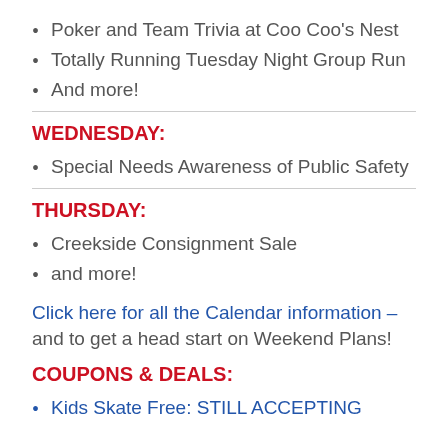Poker and Team Trivia at Coo Coo's Nest
Totally Running Tuesday Night Group Run
And more!
WEDNESDAY:
Special Needs Awareness of Public Safety
THURSDAY:
Creekside Consignment Sale
and more!
Click here for all the Calendar information – and to get a head start on Weekend Plans!
COUPONS & DEALS:
Kids Skate Free: STILL ACCEPTING